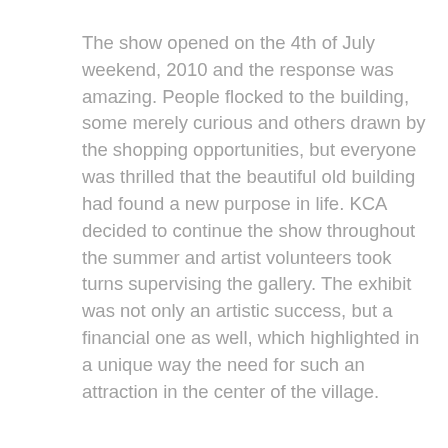The show opened on the 4th of July weekend, 2010 and the response was amazing. People flocked to the building, some merely curious and others drawn by the shopping opportunities, but everyone was thrilled that the beautiful old building had found a new purpose in life. KCA decided to continue the show throughout the summer and artist volunteers took turns supervising the gallery. The exhibit was not only an artistic success, but a financial one as well, which highlighted in a unique way the need for such an attraction in the center of the village.
The exhibition also provided a much needed retail outlet for local artists, but when the owners proposed a continuation of the cooperative arrangement for the following summer, KCA declined. An on-going cooperative gallery presented greater challenges than the group's leadership felt they could handle. Never